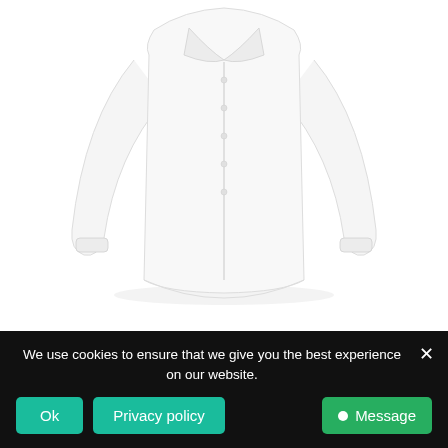[Figure (photo): White long-sleeve men's dress shirt (poplin), photographed on a white background, shown from the front with no visible collar, buttons visible on front placket, sleeves extended.]
Paris Men's Poplin Shirt
Select options
We use cookies to ensure that we give you the best experience on our website.
Ok
Privacy policy
Message